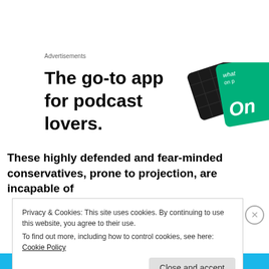Advertisements
[Figure (illustration): Advertisement banner: 'The go-to app for podcast lovers.' with an image of app cards/devices on the right side]
These highly defended and fear-minded conservatives, prone to projection, are incapable of
Privacy & Cookies: This site uses cookies. By continuing to use this website, you agree to their use.
To find out more, including how to control cookies, see here: Cookie Policy
Close and accept